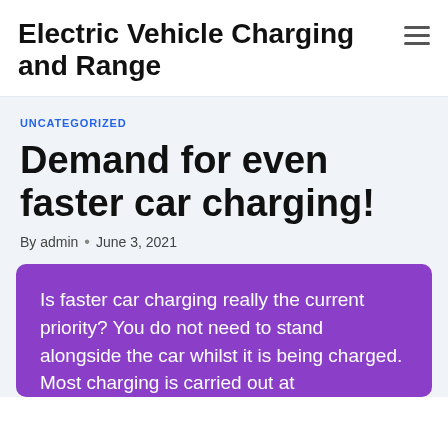Electric Vehicle Charging and Range
UNCATEGORIZED
Demand for even faster car charging!
By admin • June 3, 2021
Is faster car charging really the current priority? You do not need to stand alongside the car whilst it is being charged. Most charging is carried out at